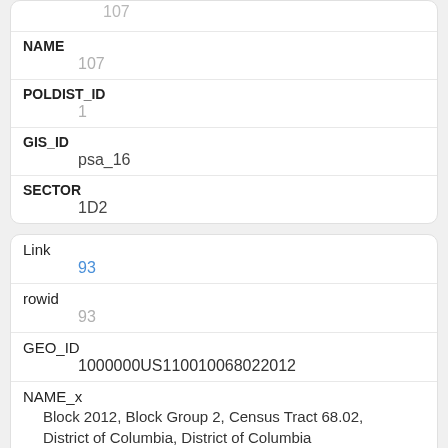| Field | Value |
| --- | --- |
| (top) | 107 |
| NAME | 107 |
| POLDIST_ID | 1 |
| GIS_ID | psa_16 |
| SECTOR | 1D2 |
| Field | Value |
| --- | --- |
| Link | 93 |
| rowid | 93 |
| GEO_ID | 1000000US110010068022012 |
| NAME_x | Block 2012, Block Group 2, Census Tract 68.02, District of Columbia, District of Columbia |
| P003001 | 2 |